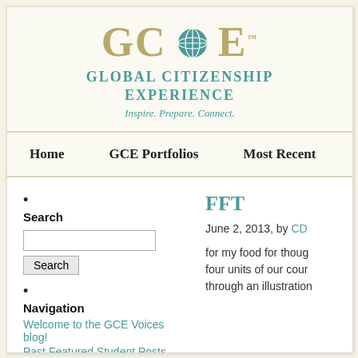[Figure (logo): GCE Global Citizenship Experience logo with globe icon]
Global Citizenship Experience
Inspire. Prepare. Connect.
Home
GCE Portfolios
Most Recent
Online
Search
Navigation
Welcome to the GCE Voices blog!
Past Featured Student Posts
GCE Portfolios
2013 Students
2014 Students
FFT
June 2, 2013, by CD
for my food for though four units of our cour through an illustration